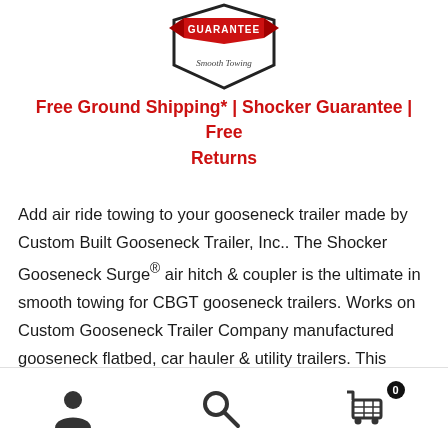[Figure (logo): Shocker Guarantee badge/shield logo with red ribbon at top reading GUARANTEE and cursive text Smooth Towing below, with black hexagonal shield outline]
Free Ground Shipping* | Shocker Guarantee | Free Returns
Add air ride towing to your gooseneck trailer made by Custom Built Gooseneck Trailer, Inc.. The Shocker Gooseneck Surge® air hitch & coupler is the ultimate in smooth towing for CBGT gooseneck trailers. Works on Custom Gooseneck Trailer Company manufactured gooseneck flatbed, car hauler & utility trailers. This shock absorbing cushion hitch is the only air ride hitch to exclusively work in a forward and back motion, which is often
[Figure (other): Bottom navigation bar with user/account icon, search icon, and shopping cart icon with badge showing 0]